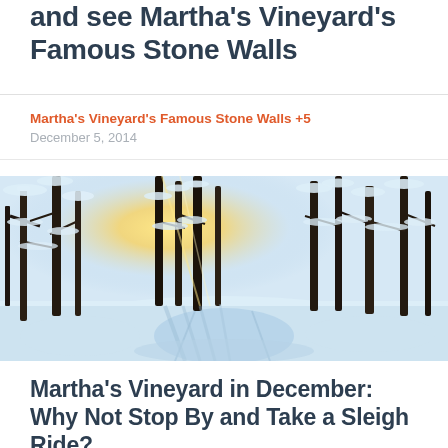and see Martha's Vineyard's Famous Stone Walls
Martha's Vineyard's Famous Stone Walls +5
December 5, 2014
[Figure (photo): A winter snow scene showing a path through snow-covered trees with sunlight streaming through the branches]
Martha's Vineyard in December: Why Not Stop By and Take a Sleigh Ride?